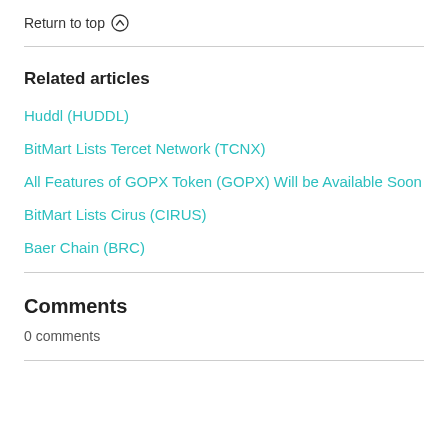Return to top ↑
Related articles
Huddl (HUDDL)
BitMart Lists Tercet Network (TCNX)
All Features of GOPX Token (GOPX) Will be Available Soon
BitMart Lists Cirus (CIRUS)
Baer Chain (BRC)
Comments
0 comments